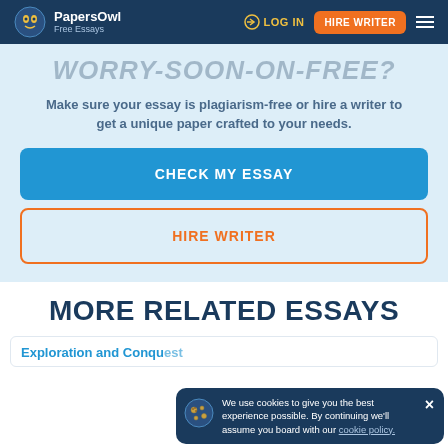PapersOwl Free Essays | LOG IN | HIRE WRITER
WORRY-SOON-ON-FREE?
Make sure your essay is plagiarism-free or hire a writer to get a unique paper crafted to your needs.
CHECK MY ESSAY
HIRE WRITER
MORE RELATED ESSAYS
Exploration and Conquest
We use cookies to give you the best experience possible. By continuing we'll assume you board with our cookie policy.